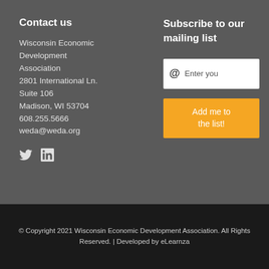Contact us
Wisconsin Economic Development Association
2801 International Ln.
Suite 106
Madison, WI 53704
608.255.5666
weda@weda.org
[Figure (illustration): Twitter and LinkedIn social media icons]
Subscribe to our mailing list
[Figure (screenshot): Email input field with @ symbol and placeholder text 'Enter you']
[Figure (illustration): Orange button labeled 'Add me to the list!']
© Copyright 2021 Wisconsin Economic Development Association. All Rights Reserved. | Developed by eLearnza